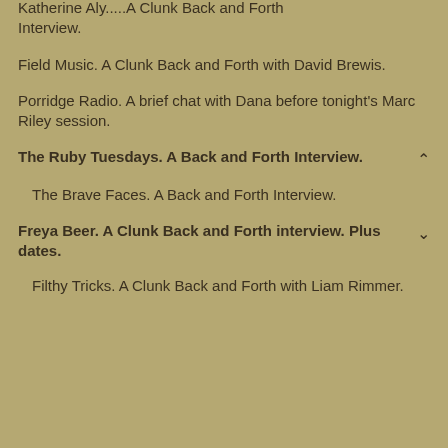Katherine Aly.....A Clunk Back and Forth Interview.
Field Music. A Clunk Back and Forth with David Brewis.
Porridge Radio. A brief chat with Dana before tonight's Marc Riley session.
The Ruby Tuesdays. A Back and Forth Interview.
The Brave Faces. A Back and Forth Interview.
Freya Beer. A Clunk Back and Forth interview. Plus dates.
Filthy Tricks. A Clunk Back and Forth with Liam Rimmer.